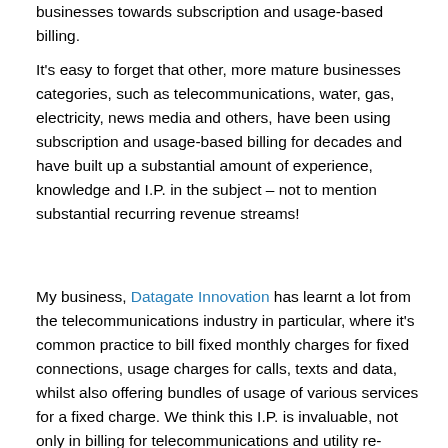businesses towards subscription and usage-based billing.
It's easy to forget that other, more mature businesses categories, such as telecommunications, water, gas, electricity, news media and others, have been using subscription and usage-based billing for decades and have built up a substantial amount of experience, knowledge and I.P. in the subject – not to mention substantial recurring revenue streams!
My business, Datagate Innovation has learnt a lot from the telecommunications industry in particular, where it's common practice to bill fixed monthly charges for fixed connections, usage charges for calls, texts and data, whilst also offering bundles of usage of various services for a fixed charge. We think this I.P. is invaluable, not only in billing for telecommunications and utility re-sellers, but